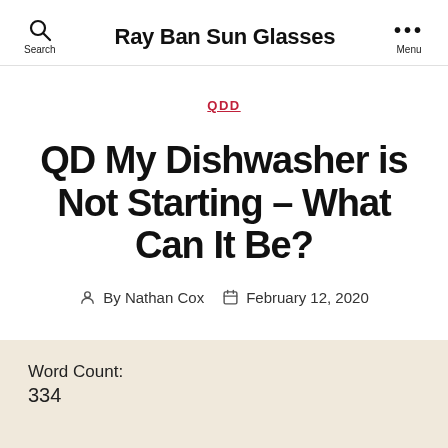Ray Ban Sun Glasses
QDD
QD My Dishwasher is Not Starting – What Can It Be?
By Nathan Cox  February 12, 2020
Word Count:
334